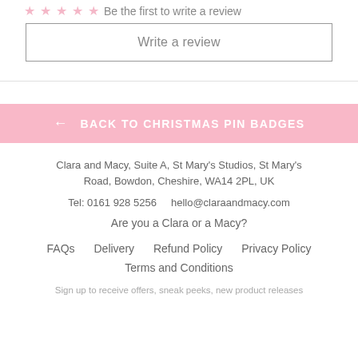Be the first to write a review
Write a review
← BACK TO CHRISTMAS PIN BADGES
Clara and Macy, Suite A, St Mary's Studios, St Mary's Road, Bowdon, Cheshire, WA14 2PL, UK
Tel: 0161 928 5256   hello@claraandmacy.com
Are you a Clara or a Macy?
FAQs   Delivery   Refund Policy   Privacy Policy
Terms and Conditions
Sign up to receive offers, sneak peeks, new product releases